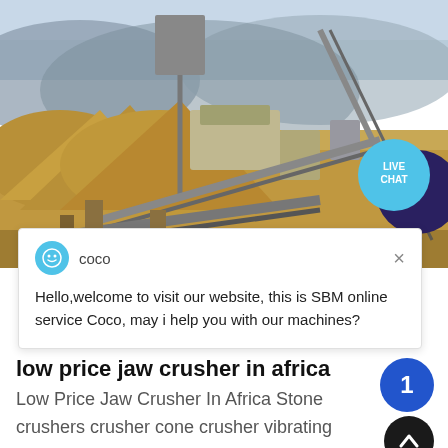[Figure (photo): Outdoor quarry/mining site with jaw crusher machinery, conveyor belts, sand piles, and mountains in background. A 'LIVE CHAT' button overlaid in top right area.]
[Figure (screenshot): Chat popup with avatar icon, agent name 'coco', close X button, and welcome message text]
low price jaw crusher in africa
Low Price Jaw Crusher In Africa Stone crushers crusher cone crusher vibrating screens batch Buyers and sellers of used jaw crushers cone crushers vibrating Get More High Quality Low Price Portable